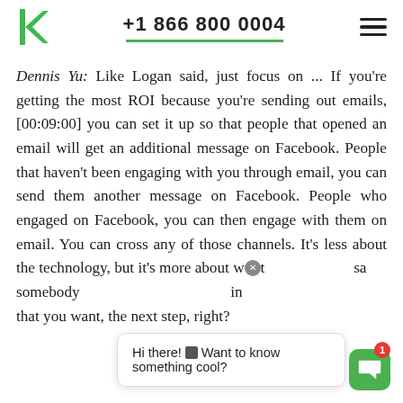+1 866 800 0004
Dennis Yu: Like Logan said, just focus on ... If you're getting the most ROI because you're sending out emails, [00:09:00] you can set it up so that people that opened an email will get an additional message on Facebook. People that haven't been engaging with you through email, you can send them another message on Facebook. People who engaged on Facebook, you can then engage with them on email. You can cross any of those channels. It's less about the technology, but it's more about w[...] sa[...] somebody [...] in that you want, the next step, right?